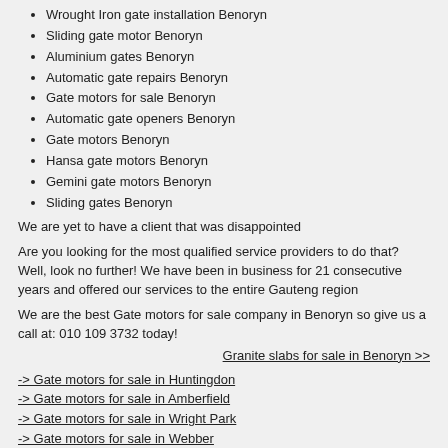Wrought Iron gate installation Benoryn
Sliding gate motor Benoryn
Aluminium gates Benoryn
Automatic gate repairs Benoryn
Gate motors for sale Benoryn
Automatic gate openers Benoryn
Gate motors Benoryn
Hansa gate motors Benoryn
Gemini gate motors Benoryn
Sliding gates Benoryn
We are yet to have a client that was disappointed
Are you looking for the most qualified service providers to do that? Well, look no further! We have been in business for 21 consecutive years and offered our services to the entire Gauteng region
We are the best Gate motors for sale company in Benoryn so give us a call at: 010 109 3732 today!
Granite slabs for sale in Benoryn >>
-> Gate motors for sale in Huntingdon
-> Gate motors for sale in Amberfield
-> Gate motors for sale in Wright Park
-> Gate motors for sale in Webber
-> Gate motors for sale in Mabuya Park